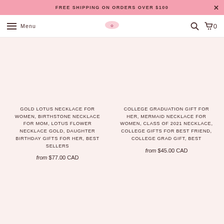FREE SHIPPING ON ORDERS OVER $100
Menu | Logo | Search | Cart 0
GOLD LOTUS NECKLACE FOR WOMEN, BIRTHSTONE NECKLACE FOR MOM, LOTUS FLOWER NECKLACE GOLD, DAUGHTER BIRTHDAY GIFTS FOR HER, BEST SELLERS
from $77.00 CAD
COLLEGE GRADUATION GIFT FOR HER, MERMAID NECKLACE FOR WOMEN, CLASS OF 2021 NECKLACE, COLLEGE GIFTS FOR BEST FRIEND, COLLEGE GRAD GIFT, BEST
from $45.00 CAD